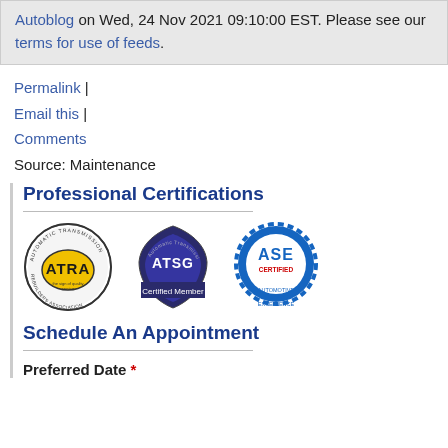Autoblog on Wed, 24 Nov 2021 09:10:00 EST. Please see our terms for use of feeds.
Permalink | Email this | Comments
Source: Maintenance
Professional Certifications
[Figure (logo): Three certification logos: ATRA (Automatic Transmission Rebuilders Association), ATSG (Automatic Transmission Service Group - Certified Member), ASE Certified (Automotive Service Excellence)]
Schedule An Appointment
Preferred Date *